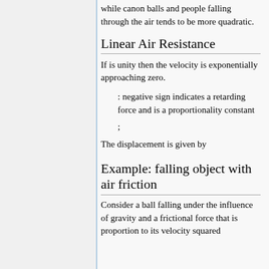while canon balls and people falling through the air tends to be more quadratic.
Linear Air Resistance
If is unity then the velocity is exponentially approaching zero.
: negative sign indicates a retarding force and is a proportionality constant
;
The displacement is given by
Example: falling object with air friction
Consider a ball falling under the influence of gravity and a frictional force that is proportion to its velocity squared